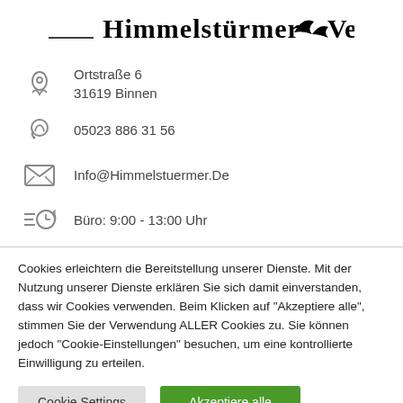[Figure (logo): Himmelstürmer Verlag logo with stylized bird/wing graphic and serif text]
Ortstraße 6
31619 Binnen
05023 886 31 56
Info@Himmelstuermer.De
Büro: 9:00 - 13:00 Uhr
Cookies erleichtern die Bereitstellung unserer Dienste. Mit der Nutzung unserer Dienste erklären Sie sich damit einverstanden, dass wir Cookies verwenden. Beim Klicken auf "Akzeptiere alle", stimmen Sie der Verwendung ALLER Cookies zu. Sie können jedoch "Cookie-Einstellungen" besuchen, um eine kontrollierte Einwilligung zu erteilen.
Cookie Settings | Akzeptiere alle